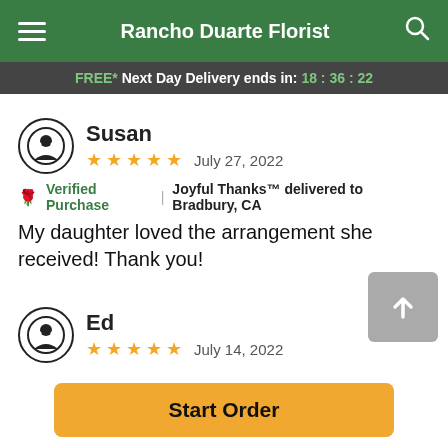Rancho Duarte Florist
FREE* Next Day Delivery ends in: 18:36:22
Susan
★★★★★ July 27, 2022
🌹 Verified Purchase | Joyful Thanks™ delivered to Bradbury, CA
My daughter loved the arrangement she received! Thank you!
Ed
★★★★★ July 14, 2022
🌹 Verified Purchase | Bright Medley™ delivered to Rancho Cucamonga, CA
We use Rancho Duarte florist...
Start Order